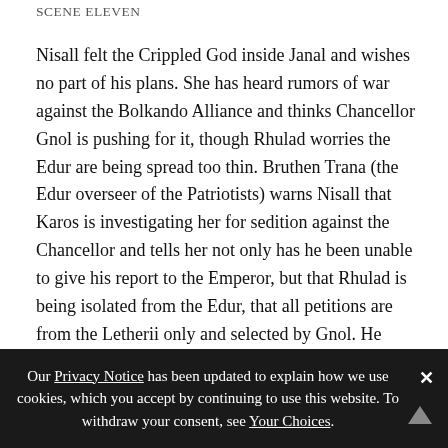SCENE ELEVEN
Nisall felt the Crippled God inside Janal and wishes no part of his plans. She has heard rumors of war against the Bolkando Alliance and thinks Chancellor Gnol is pushing for it, though Rhulad worries the Edur are being spread too thin. Bruthen Trana (the Edur overseer of the Patriotists) warns Nisall that Karos is investigating her for sedition against the Chancellor and tells her not only has he been unable to give his report to the Emperor, but that Rhulad is being isolated from the Edur, that all petitions are from the Letherii only and selected by Gnol. He offers her two bodyguards and they agree to think about working together.
Our Privacy Notice has been updated to explain how we use cookies, which you accept by continuing to use this website. To withdraw your consent, see Your Choices.